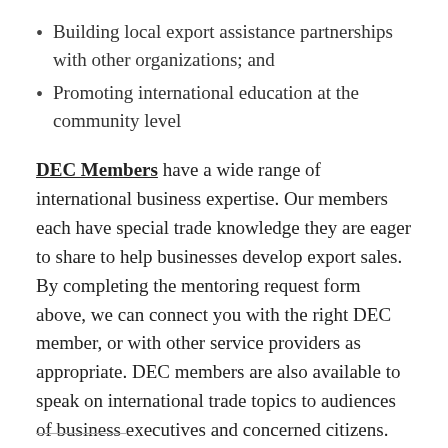Building local export assistance partnerships with other organizations; and
Promoting international education at the community level
DEC Members have a wide range of international business expertise. Our members each have special trade knowledge they are eager to share to help businesses develop export sales. By completing the mentoring request form above, we can connect you with the right DEC member, or with other service providers as appropriate. DEC members are also available to speak on international trade topics to audiences of business executives and concerned citizens.